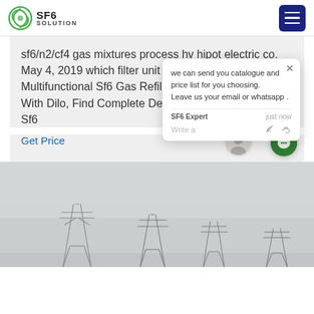SF6 SOLUTION
sf6/n2/cf4 gas mixtures process hv hipot electric co. May 4, 2019 which filter unit tai`an taishan Multifunctional Sf6 Gas Refilling Device Complete With Dilo, Find Complete Details about Multifunctional Sf6
Get Price
[Figure (screenshot): Chat popup overlay with message: we can send you catalogue and price list for you choosing. Leave us your email or whatsapp. SF6 Expert just now. Write a message input area.]
[Figure (photo): Foggy/misty outdoor photo of electrical transmission towers/pylons in grey hazy conditions]